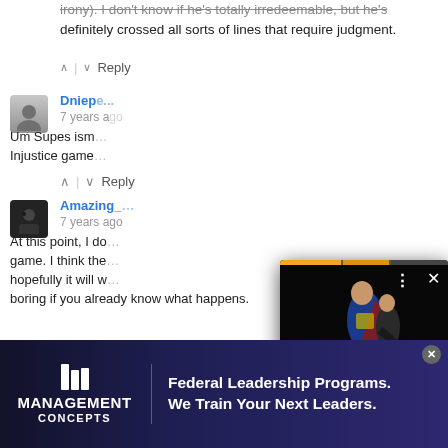irony). I don't know if he's totally irredeemable, but he's definitely crossed all sorts of lines that require judgment.
^ | v Reply
Dnieper | 7 years ago | Um Supes isn... Injustice game...
^ | v Reply
Amazing_ | 7 years ago | At this point, I do... game. I think the... hopefully it will w... boring if you already know what happens.
[Figure (screenshot): Video overlay popup showing a Superman and Lois statue figurine on black background. Has progress bar at top, three-dot menu and X close button, orange arrow navigation button, and caption label reading 'Iron Studios announcesnewSuperman andLois statue']
[Figure (screenshot): Advertisement banner for Management Concepts: 'Federal Leadership Programs. We Train Your Next Leaders.' with logo on blue/purple gradient background.]